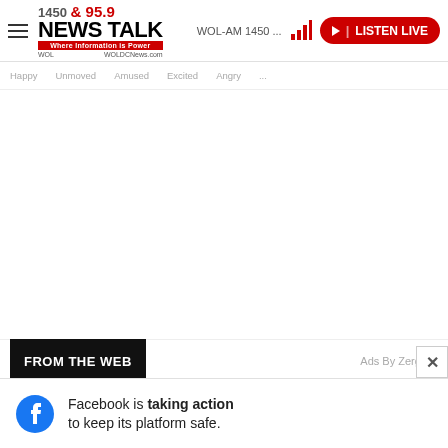[Figure (logo): 1450 & 95.9 NEWS TALK Where Information is Power WOL / WOLDCNews.com logo]
WOL-AM 1450 ...
[Figure (screenshot): Signal strength bar icon in red]
[Figure (other): Listen Live red button with play icon]
Happy  Unmoved  Amused  Excited  Angry  ...
[Figure (other): Large white ad space area]
FROM THE WEB
Ads By ZergNet
[Figure (photo): Close-up photo of a Black woman wearing round tortoiseshell glasses]
[Figure (photo): Close-up photo of a young white boy with brown hair]
Facebook is taking action to keep its platform safe.